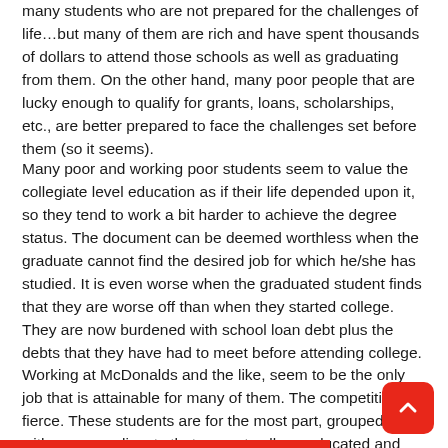many students who are not prepared for the challenges of life…but many of them are rich and have spent thousands of dollars to attend those schools as well as graduating from them. On the other hand, many poor people that are lucky enough to qualify for grants, loans, scholarships, etc., are better prepared to face the challenges set before them (so it seems).
Many poor and working poor students seem to value the collegiate level education as if their life depended upon it, so they tend to work a bit harder to achieve the degree status. The document can be deemed worthless when the graduate cannot find the desired job for which he/she has studied. It is even worse when the graduated student finds that they are worse off than when they started college. They are now burdened with school loan debt plus the debts that they have had to meet before attending college. Working at McDonalds and the like, seem to be the only job that is attainable for many of them. The competition is fierce. These students are for the most part, grouped in with many applicants that are not college educated and many do not have high school diplomas as well! The knowledge attained is not considered or tested by many of these employers.